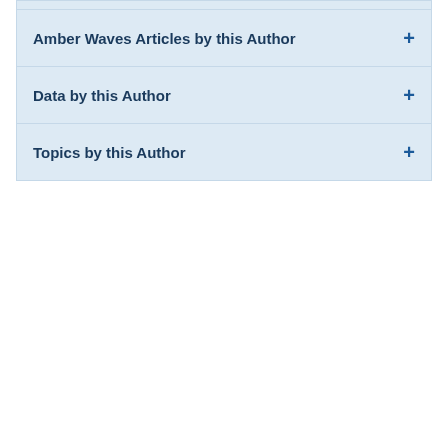Amber Waves Articles by this Author +
Data by this Author +
Topics by this Author +